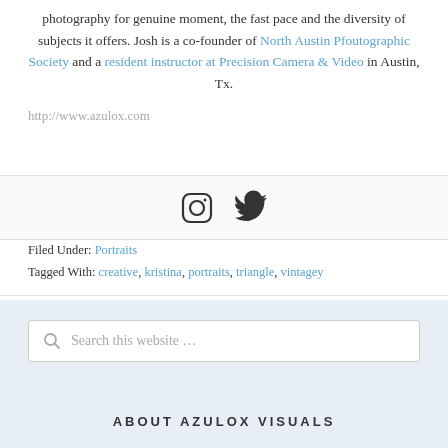photography for genuine moment, the fast pace and the diversity of subjects it offers. Josh is a co-founder of North Austin Pfoutographic Society and a resident instructor at Precision Camera & Video in Austin, Tx.
http://www.azulox.com
[Figure (other): Instagram and Twitter social media icons]
Filed Under: Portraits
Tagged With: creative, kristina, portraits, triangle, vintagey
Search this website …
ABOUT AZULOX VISUALS